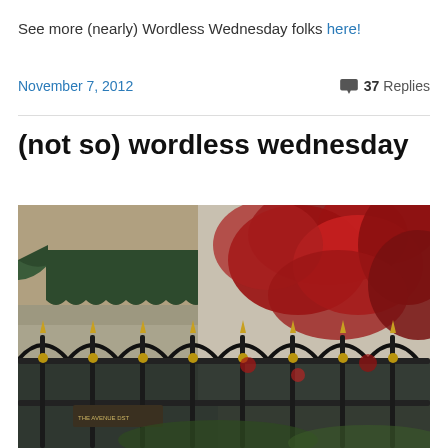See more (nearly) Wordless Wednesday folks here!
November 7, 2012    💬 37 Replies
(not so) wordless wednesday
[Figure (photo): A wrought iron fence with ornate arches and gold spikes in front of a building with dark green awnings. The right side is covered with dense red flowering vines/roses climbing a beige stone wall. The photo has an HDR-style high contrast treatment.]